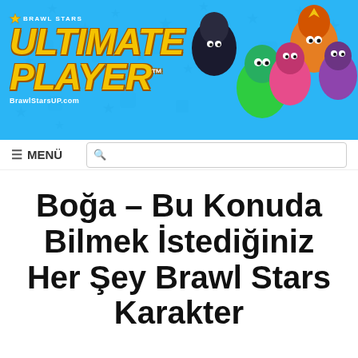[Figure (illustration): Brawl Stars Ultimate Player banner with blue background, star/icon pattern, logo with yellow bold italic text 'ULTIMATE PLAYER' and game characters on the right]
☰ MENÜ
Boğa – Bu Konuda Bilmek İstediğiniz Her Şey Brawl Stars Karakter